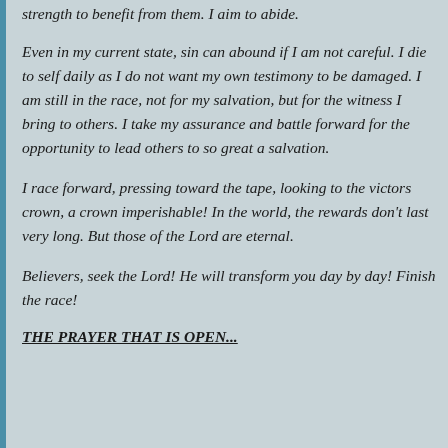strength to benefit from them. I aim to abide.
Even in my current state, sin can abound if I am not careful. I die to self daily as I do not want my own testimony to be damaged. I am still in the race, not for my salvation, but for the witness I bring to others. I take my assurance and battle forward for the opportunity to lead others to so great a salvation.
I race forward, pressing toward the tape, looking to the victors crown, a crown imperishable! In the world, the rewards don't last very long. But those of the Lord are eternal.
Believers, seek the Lord! He will transform you day by day! Finish the race!
THE PRAYER THAT IS OPEN...